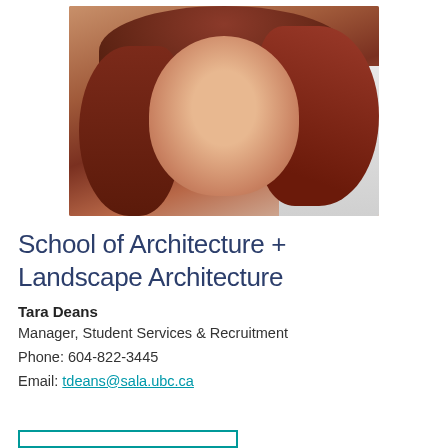[Figure (photo): Portrait photo of Tara Deans, a woman with reddish-brown hair, light skin with freckles, wearing a dark top, posed against a light wall background.]
School of Architecture + Landscape Architecture
Tara Deans
Manager, Student Services & Recruitment
Phone: 604-822-3445
Email: tdeans@sala.ubc.ca